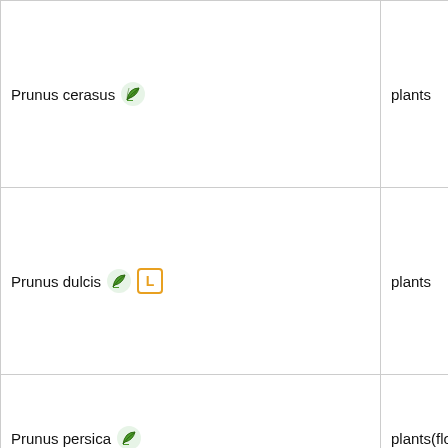| Prunus cerasus [icon] | plants | Rosace |
| Prunus dulcis [icon][L] | plants | Rosace |
| Prunus persica [icon] | plants(flowers : eaten,tea,) | Rosace |
| Prunus prostrata [icon] | plants | Rosace |